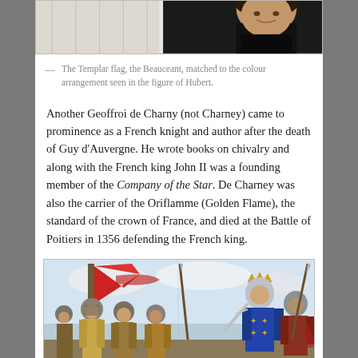[Figure (illustration): Top portion of an image showing a figure (Hubert) in dark clothing against a decorative background, partially cropped at the top of the page.]
— The Templar flag, the Beauceant, matched to the colour arrangement seen in the figure of Hubert.
Another Geoffroi de Charny (not Charney) came to prominence as a French knight and author after the death of Guy d'Auvergne. He wrote books on chivalry and along with the French king John II was a founding member of the Company of the Star. De Charney was also the carrier of the Oriflamme (Golden Flame), the standard of the crown of France, and died at the Battle of Poitiers in 1356 defending the French king.
[Figure (illustration): Illustration of a medieval battle scene showing armored knights, one carrying a red banner/flag, with a crowned king figure in blue fleur-de-lis surcoat on the right side.]